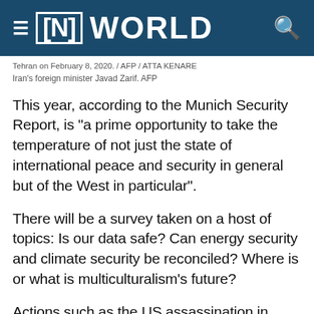[N] WORLD
Tehran on February 8, 2020. / AFP / ATTA KENARE
Iran's foreign minister Javad Zarif. AFP
This year, according to the Munich Security Report, is "a prime opportunity to take the temperature of not just the state of international peace and security in general but of the West in particular".
There will be a survey taken on a host of topics: Is our data safe? Can energy security and climate security be reconciled? Where is or what is multiculturalism's future?
Actions such as the US assassination in January of Iranian general Qassem Suleimani and Donald Trump's newly revealed